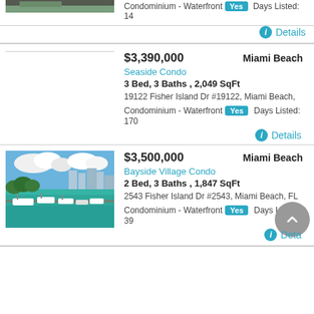Condominium - Waterfront Yes   Days Listed: 14
Details
$3,390,000   Miami Beach
Seaside Condo
3 Bed, 3 Baths , 2,049 SqFt
19122 Fisher Island Dr #19122, Miami Beach,
Condominium - Waterfront Yes   Days Listed: 170
Details
[Figure (photo): Aerial view of marina with boats and waterfront buildings]
$3,500,000   Miami Beach
Bayside Village Condo
2 Bed, 3 Baths , 1,847 SqFt
2543 Fisher Island Dr #2543, Miami Beach, FL
Condominium - Waterfront Yes   Days Listed: 39
Details